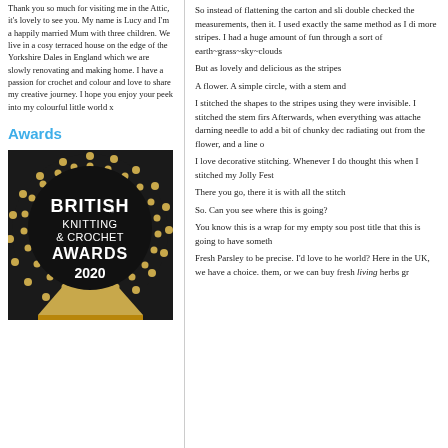Thank you so much for visiting me in the Attic, it's lovely to see you. My name is Lucy and I'm a happily married Mum with three children. We live in a cosy terraced house on the edge of the Yorkshire Dales in England which we are slowly renovating and making home. I have a passion for crochet and colour and love to share my creative journey. I hope you enjoy your peek into my colourful little world x
Awards
[Figure (photo): British Knitting & Crochet Awards 2020 badge — circular black badge with gold dots border and gold triangle at bottom]
So instead of flattening the carton and sli double checked the measurements, then it. I used exactly the same method as I di more stripes. I had a huge amount of fun through a sort of earth~grass~sky~clouds
But as lovely and delicious as the stripes
A flower. A simple circle, with a stem and
I stitched the shapes to the stripes using they were invisible. I stitched the stem firs Afterwards, when everything was attache darning needle to add a bit of chunky dec radiating out from the flower, and a line o
I love decorative stitching. Whenever I do thought this when I stitched my Jolly Fest
There you go, there it is with all the stitch
So. Can you see where this is going?
You know this is a wrap for my empty sou post title that this is going to have someth
Fresh Parsley to be precise. I'd love to he world? Here in the UK, we have a choice. them, or we can buy fresh living herbs gr